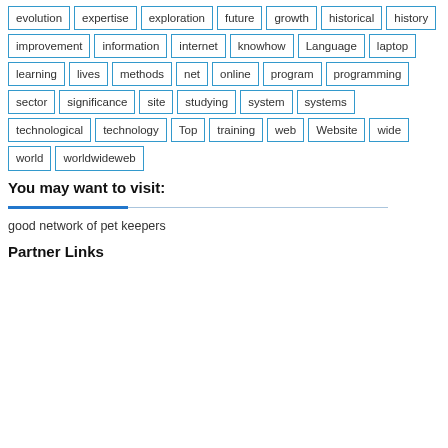evolution, expertise, exploration, future, growth, historical, history, improvement, information, internet, knowhow, Language, laptop, learning, lives, methods, net, online, program, programming, sector, significance, site, studying, system, systems, technological, technology, Top, training, web, Website, wide, world, worldwideweb
You may want to visit:
good network of pet keepers
Partner Links